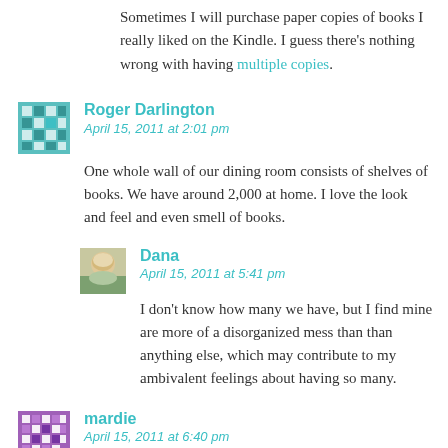Sometimes I will purchase paper copies of books I really liked on the Kindle. I guess there's nothing wrong with having multiple copies.
Roger Darlington
April 15, 2011 at 2:01 pm
One whole wall of our dining room consists of shelves of books. We have around 2,000 at home. I love the look and feel and even smell of books.
[Figure (photo): Avatar thumbnail for Roger Darlington - teal/green patterned square icon]
Dana
April 15, 2011 at 5:41 pm
I don't know how many we have, but I find mine are more of a disorganized mess than than anything else, which may contribute to my ambivalent feelings about having so many.
[Figure (photo): Avatar photo of Dana - blonde woman]
mardie
April 15, 2011 at 6:40 pm
[Figure (photo): Avatar thumbnail for mardie - purple/white patterned square icon]